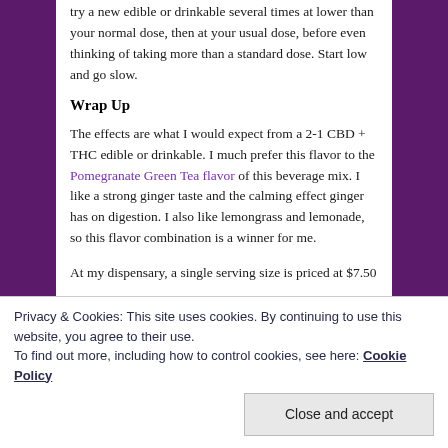try a new edible or drinkable several times at lower than your normal dose, then at your usual dose, before even thinking of taking more than a standard dose. Start low and go slow.
Wrap Up
The effects are what I would expect from a 2-1 CBD + THC edible or drinkable. I much prefer this flavor to the Pomegranate Green Tea flavor of this beverage mix. I like a strong ginger taste and the calming effect ginger has on digestion. I also like lemongrass and lemonade, so this flavor combination is a winner for me.
At my dispensary, a single serving size is priced at $7.50
Privacy & Cookies: This site uses cookies. By continuing to use this website, you agree to their use.
To find out more, including how to control cookies, see here: Cookie Policy